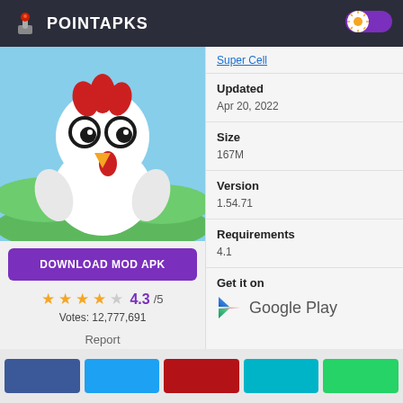POINTAPKS
[Figure (screenshot): App store page screenshot showing a cartoon chicken game image, download button, rating, and app metadata]
Super Cell
Updated
Apr 20, 2022
Size
167M
Version
1.54.71
Requirements
4.1
Get it on
Google Play
DOWNLOAD MOD APK
4.3/5
Votes: 12,777,691
Report